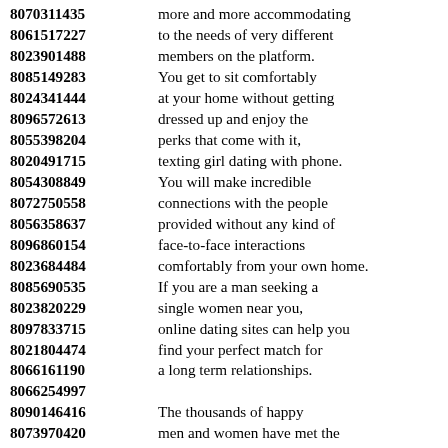8070311435 more and more accommodating
8061517227 to the needs of very different
8023901488 members on the platform.
8085149283 You get to sit comfortably
8024341444 at your home without getting
8096572613 dressed up and enjoy the
8055398204 perks that come with it,
8020491715 texting girl dating with phone.
8054308849 You will make incredible
8072750558 connections with the people
8056358637 provided without any kind of
8096860154 face-to-face interactions
8023684484 comfortably from your own home.
8085690535 If you are a man seeking a
8023820229 single women near you,
8097833715 online dating sites can help you
8021804474 find your perfect match for
8066161190 a long term relationships.
8066254997
8090146416 The thousands of happy
8073970420 men and women have met the
8040367829 matches on our website,
8036830661 shared their stories with us.
8021383572 Feel free to explore and enjoy
8034379327 fun because there are no